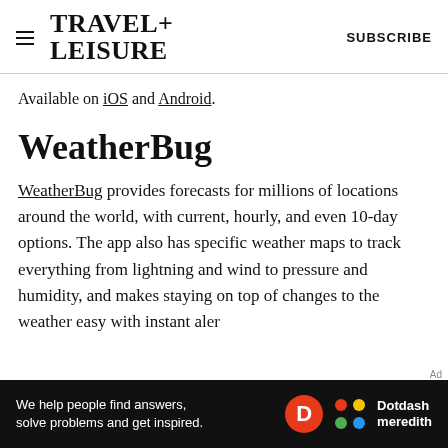TRAVEL+ LEISURE   SUBSCRIBE
Available on iOS and Android.
WeatherBug
WeatherBug provides forecasts for millions of locations around the world, with current, hourly, and even 10-day options. The app also has specific weather maps to track everything from lightning and wind to pressure and humidity, and makes staying on top of changes to the weather easy with instant alerts
[Figure (other): Dotdash Meredith advertisement banner — dark background with text 'We help people find answers, solve problems and get inspired.' with Dotdash Meredith logo]